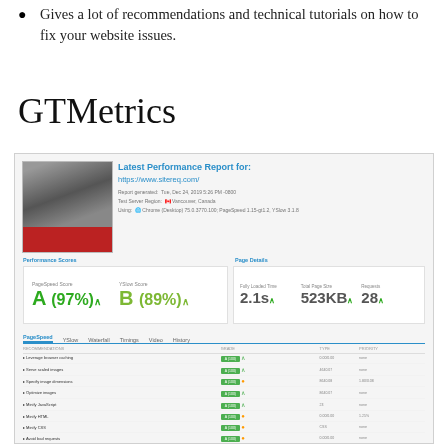Gives a lot of recommendations and technical tutorials on how to fix your website issues.
GTMetrics
[Figure (screenshot): GTMetrics latest performance report screenshot for https://www.sitereq.com/ showing PageSpeed Score A (97%), YSlow Score B (89%), Fully Loaded Time 2.1s, Total Page Size 523KB, Requests 28, with PageSpeed tab details listing optimization items like Leverage browser caching, Serve scaled images, Specify image dimensions, Optimize images, Minify JavaScript, Minify HTML, Minify CSS, Avoid bad requests, Avoid landing page redirects, Defer parsing of JavaScript, Enable compression, Enable Keep-Alive — all with green A (100) bars.]